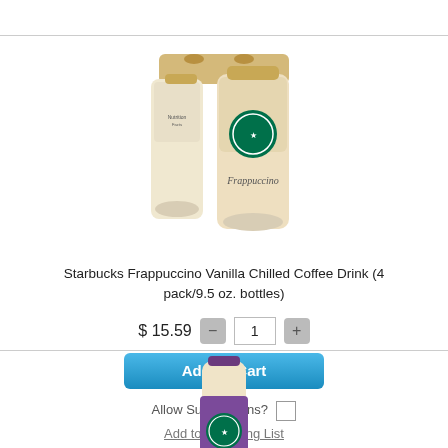[Figure (photo): Starbucks Frappuccino Vanilla 4-pack bottles product image]
Starbucks Frappuccino Vanilla Chilled Coffee Drink (4 pack/9.5 oz. bottles)
$ 15.59
Add To Cart
Allow Substitutions?
Add to Shopping List
[Figure (photo): Starbucks Frappuccino single bottle product image]
Starbucks Passport Frappuccino Chilled